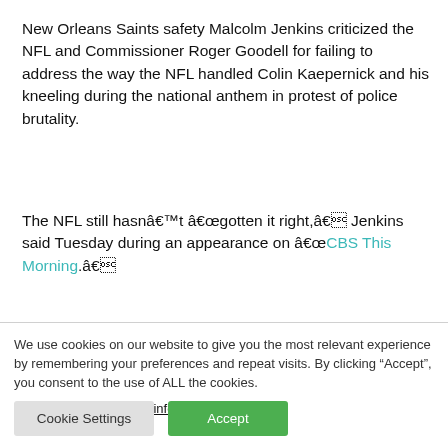New Orleans Saints safety Malcolm Jenkins criticized the NFL and Commissioner Roger Goodell for failing to address the way the NFL handled Colin Kaepernick and his kneeling during the national anthem in protest of police brutality.
The NFL still hasnâ€™t â€œgotten it right,â€� Jenkins said Tuesday during an appearance on â€œCBS This Morning.â€�
We use cookies on our website to give you the most relevant experience by remembering your preferences and repeat visits. By clicking “Accept”, you consent to the use of ALL the cookies.
Do not sell my personal information.